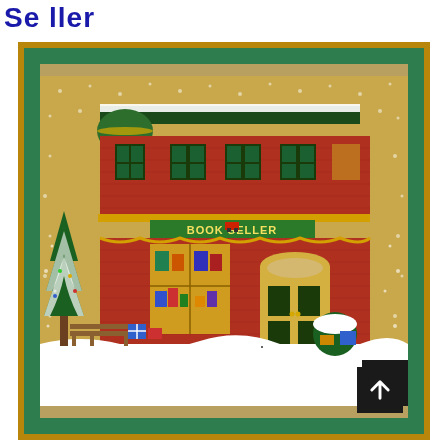Seller
[Figure (photo): A framed cross-stitch needlework piece depicting a Victorian-style 'Book Seller' shop in winter. The shop is red brick with green accents, a sign reading 'BOOK SELLER', snow-covered trees, a bench, wrapped gifts, and decorative elements. The piece is mounted in a green mat with a gold/wood outer frame.]